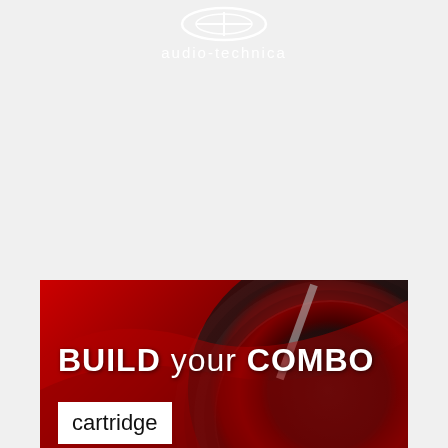[Figure (logo): Audio-Technica logo: white oval/ellipse shape above white text 'audio-technica']
SHOP BRAND
[Figure (photo): Dark red-tinted photo of vinyl record and turntable arm with overlaid text 'BUILD your COMBO' and a white badge reading 'cartridge']